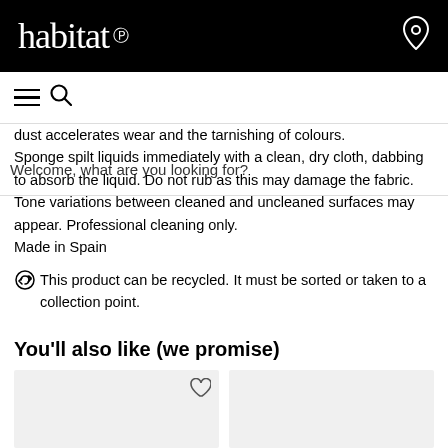habitat
dust accelerates wear and the tarnishing of colours. Sponge spilt liquids immediately with a clean, dry cloth, dabbing to absorb the liquid. Do not rub as this may damage the fabric. Tone variations between cleaned and uncleaned surfaces may appear. Professional cleaning only.
Made in Spain
This product can be recycled. It must be sorted or taken to a collection point.
You'll also like (we promise)
[Figure (photo): Two product card placeholders shown at the bottom of the page]